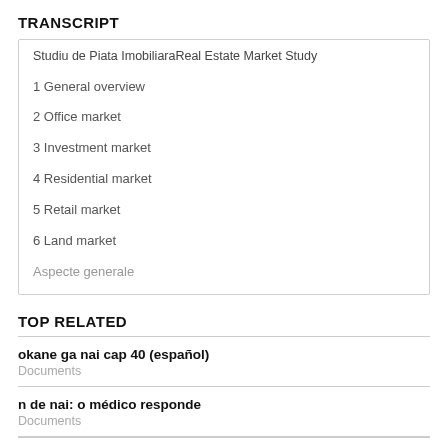TRANSCRIPT
Studiu de Piata ImobiliaraReal Estate Market Study
1 General overview
2 Office market
3 Investment market
4 Residential market
5 Retail market
6 Land market
Aspecte generale
TOP RELATED
okane ga nai cap 40 (español)
Documents
n de nai: o médico responde
Documents